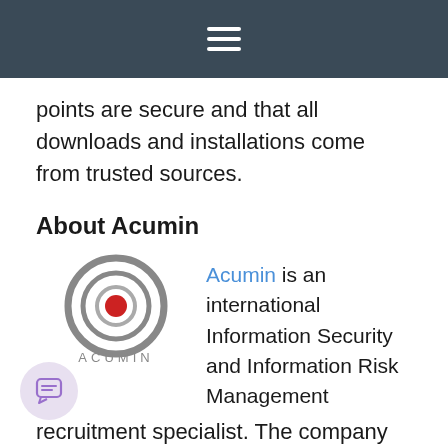Navigation menu bar
points are secure and that all downloads and installations come from trusted sources.
About Acumin
[Figure (logo): Acumin logo: circular target/bullseye icon with red center dot and grey rings, with wordmark ACUMIN below in spaced grey capitals]
Acumin is an international Information Security and Information Risk Management recruitment specialist. The company works with a variety of markets comprising of End Users, IT Security Vendors, Systems Integrators and Consultancies.
Acumin provides a range of specialist services